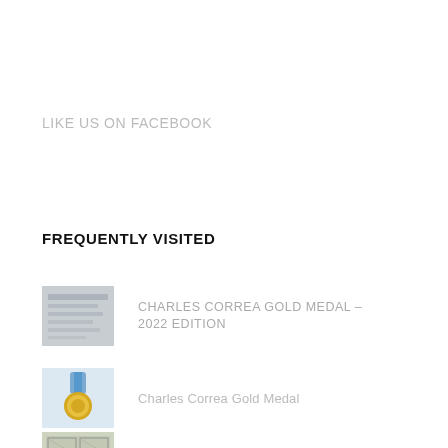LIKE US ON FACEBOOK
FREQUENTLY VISITED
CHARLES CORREA GOLD MEDAL – 2022 EDITION
Charles Correa Gold Medal
CABLENAGAR TOWNSHIP